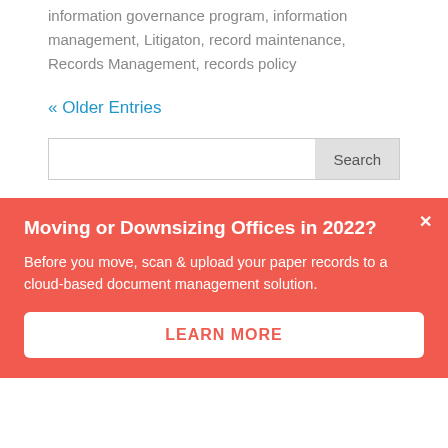information governance program, information management, Litigaton, record maintenance, Records Management, records policy
« Older Entries
Search
Moving or Downsizing Offices in 2022?
Before you move, scan & upload your paper records to a cloud-based document management solution.
LEARN MORE